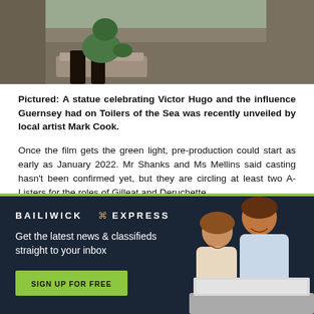[Figure (photo): Partial view of a statue — legs in dark boots and a green bronze figure seated on a stone bench, outdoors]
Pictured: A statue celebrating Victor Hugo and the influence Guernsey had on Toilers of the Sea was recently unveiled by local artist Mark Cook.
Once the film gets the green light, pre-production could start as early as January 2022. Mr Shanks and Ms Mellins said casting hasn't been confirmed yet, but they are circling at least two A-Listers for the roles of Gilleat and Deruchette.
[Figure (illustration): Advertisement banner for Bailiwick Express: dark navy background with logo, text 'Get the latest news & classifieds straight to your inbox', a green 'SIGN UP FOR FREE' button, and a photo of a smiling couple looking at a laptop.]